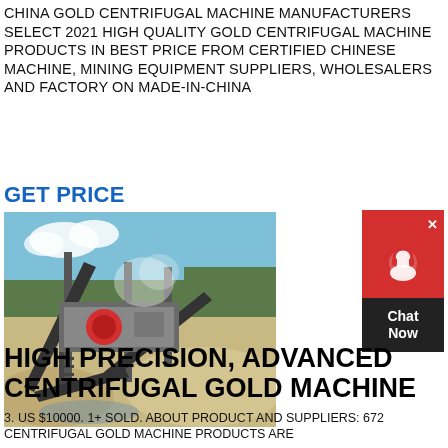CHINA GOLD CENTRIFUGAL MACHINE MANUFACTURERS SELECT 2021 HIGH QUALITY GOLD CENTRIFUGAL MACHINE PRODUCTS IN BEST PRICE FROM CERTIFIED CHINESE MACHINE, MINING EQUIPMENT SUPPLIERS, WHOLESALERS AND FACTORY ON MADE-IN-CHINA
GET PRICE
[Figure (photo): Outdoor mining/quarrying facility showing large industrial processing equipment with conveyor belts and machinery, dusty sandy terrain, trees in background, blue sky.]
[Figure (other): Chat widget with red background, headset/support icon, and 'Chat Now' button in dark background.]
HIGH PRECISION, ADVANCED CENTRIFUGAL GOLD MACHINE
3. US $10000. 1+ SOLD. ABOUT PRODUCT AND SUPPLIERS: 672 CENTRIFUGAL GOLD MACHINE PRODUCTS ARE